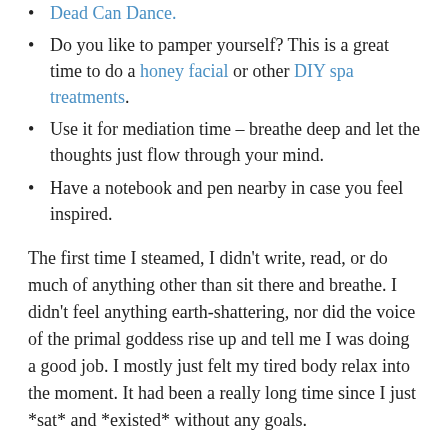Dead Can Dance.
Do you like to pamper yourself? This is a great time to do a honey facial or other DIY spa treatments.
Use it for mediation time – breathe deep and let the thoughts just flow through your mind.
Have a notebook and pen nearby in case you feel inspired.
The first time I steamed, I didn't write, read, or do much of anything other than sit there and breathe. I didn't feel anything earth-shattering, nor did the voice of the primal goddess rise up and tell me I was doing a good job. I mostly just felt my tired body relax into the moment. It had been a really long time since I just *sat* and *existed* without any goals.
The second time I did a DIY yoni steam, I was much more comfortable from the onset. I knew what I